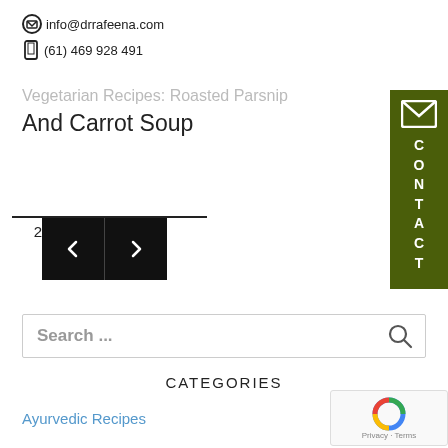info@drrafeena.com
(61) 469 928 491
Vegetarian Recipes: Roasted Parsnip And Carrot Soup
2 ← →
Search ...
CATEGORIES
Ayurvedic Recipes